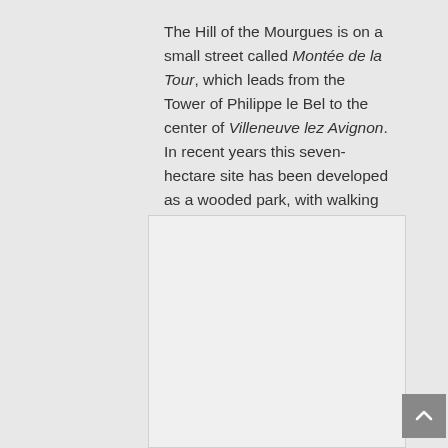The Hill of the Mourgues is on a small street called Montée de la Tour, which leads from the Tower of Philippe le Bel to the center of Villeneuve lez Avignon. In recent years this seven-hectare site has been developed as a wooded park, with walking paths and viewing points.
[Figure (photo): A blank or unloaded image placeholder with light grey background]